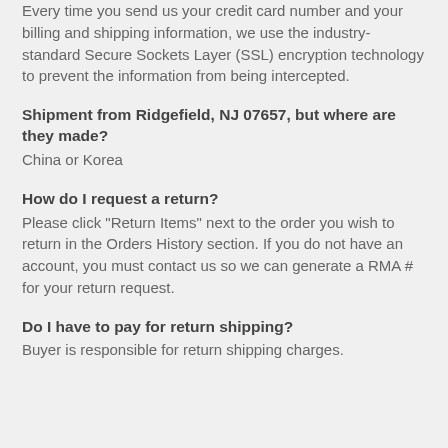Every time you send us your credit card number and your billing and shipping information, we use the industry-standard Secure Sockets Layer (SSL) encryption technology to prevent the information from being intercepted.
Shipment from Ridgefield, NJ 07657, but where are they made?
China or Korea
How do I request a return?
Please click "Return Items" next to the order you wish to return in the Orders History section. If you do not have an account, you must contact us so we can generate a RMA # for your return request.
Do I have to pay for return shipping?
Buyer is responsible for return shipping charges.